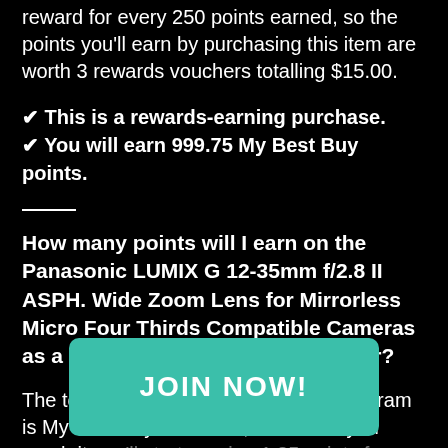reward for every 250 points earned, so the points you'll earn by purchasing this item are worth 3 rewards vouchers totalling $15.00.
✔ This is a rewards-earning purchase.
✔ You will earn 999.75 My Best Buy points.
How many points will I earn on the Panasonic LUMIX G 12-35mm f/2.8 II ASPH. Wide Zoom Lens for Mirrorless Micro Four Thirds Compatible Cameras as a My Best Buy Elite Plus Member?
The top status in Best Buy's loyalty program is My Best Buy Elite Plus, and when you reach it you'll start earning 1.25 points for every $1 you spend. Purchasing the Panasonic LUMIX G 12-35mm f/2.8 II ASPH. Wide Zoom Lens for Mirrorless Micro Four Thirds Compatible Cameras for $999.99 will earn you 1,249.75 points...
[Figure (other): JOIN NOW! button overlay in teal/green color]